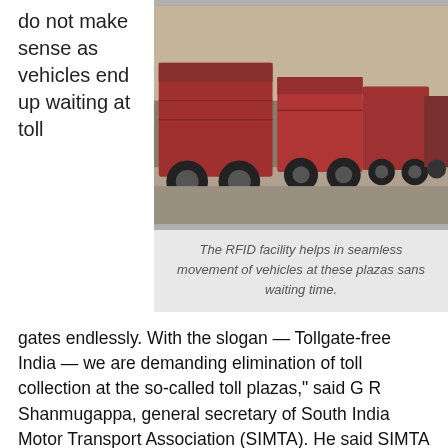do not make sense as vehicles end up waiting at toll
[Figure (photo): A long line of red trucks/lorries waiting at a toll plaza, viewed from the side, showing congestion.]
The RFID facility helps in seamless movement of vehicles at these plazas sans waiting time.
gates endlessly. With the slogan — Tollgate-free India — we are demanding elimination of toll collection at the so-called toll plazas," said G R Shanmugappa, general secretary of South India Motor Transport Association (SIMTA). He said SIMTA will announce the strike date on November 6.
"It is a different issue that we have been burdened with exorbitant road tax and toll fee. All we want is the government to help us cut down travel time and cost," said Sunil Sharma, vice president of Bus Operators Confederation of India associate of Sharma Travels